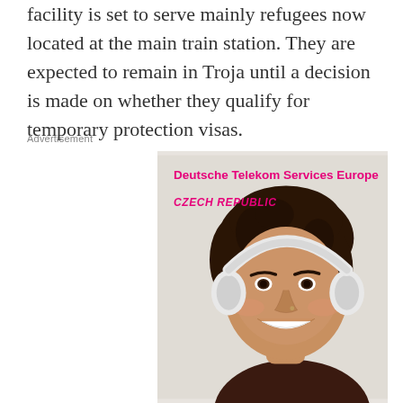facility is set to serve mainly refugees now located at the main train station. They are expected to remain in Troja until a decision is made on whether they qualify for temporary protection visas.
Advertisement
[Figure (photo): Advertisement for Deutsche Telekom Services Europe Czech Republic, showing a smiling young woman wearing white headphones against a light concrete background. Bold pink text reads 'Deutsche Telekom Services Europe' with italic 'CZECH REPUBLIC' below.]